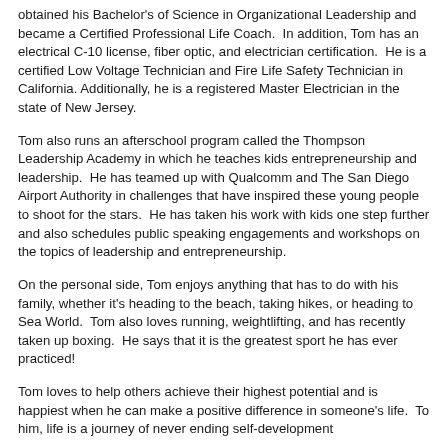obtained his Bachelor's of Science in Organizational Leadership and became a Certified Professional Life Coach.  In addition, Tom has an electrical C-10 license, fiber optic, and electrician certification.  He is a certified Low Voltage Technician and Fire Life Safety Technician in California. Additionally, he is a registered Master Electrician in the state of New Jersey.
Tom also runs an afterschool program called the Thompson Leadership Academy in which he teaches kids entrepreneurship and leadership.  He has teamed up with Qualcomm and The San Diego Airport Authority in challenges that have inspired these young people to shoot for the stars.  He has taken his work with kids one step further and also schedules public speaking engagements and workshops on the topics of leadership and entrepreneurship.
On the personal side, Tom enjoys anything that has to do with his family, whether it's heading to the beach, taking hikes, or heading to Sea World.  Tom also loves running, weightlifting, and has recently taken up boxing.  He says that it is the greatest sport he has ever practiced!
Tom loves to help others achieve their highest potential and is happiest when he can make a positive difference in someone's life.  To him, life is a journey of never ending self-development